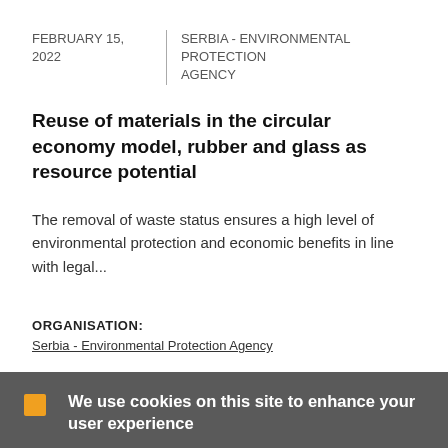FEBRUARY 15, 2022 | SERBIA - ENVIRONMENTAL PROTECTION AGENCY
Reuse of materials in the circular economy model, rubber and glass as resource potential
The removal of waste status ensures a high level of environmental protection and economic benefits in line with legal...
ORGANISATION:
Serbia - Environmental Protection Agency
We use cookies on this site to enhance your user experience
By clicking the Accept button, you agree to us doing so. More info
ACCEPT   NO, THANKS